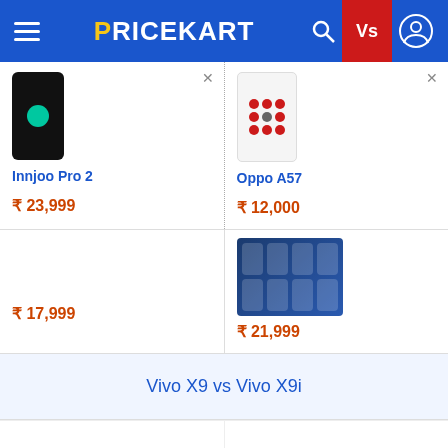PRICEKART
Innjoo Pro 2
₹ 23,999
Oppo A57
₹ 12,000
₹ 17,999
₹ 21,999
Vivo X9 vs Vivo X9i
₹ 8,490
₹ 10,999